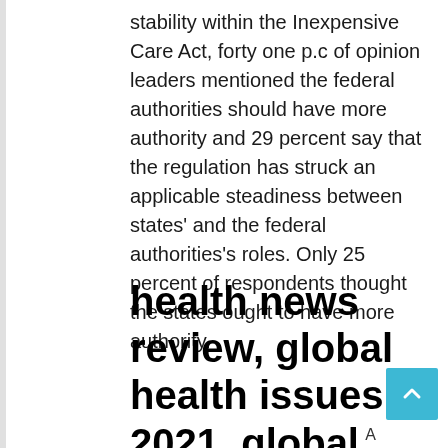stability within the Inexpensive Care Act, forty one p.c of opinion leaders mentioned the federal authorities should have more authority and 29 percent say that the regulation has struck an applicable steadiness between states' and the federal authorities's roles. Only 25 percent of respondents thought the states ought to have more authority.
health news review, global health issues 2021, global health issues